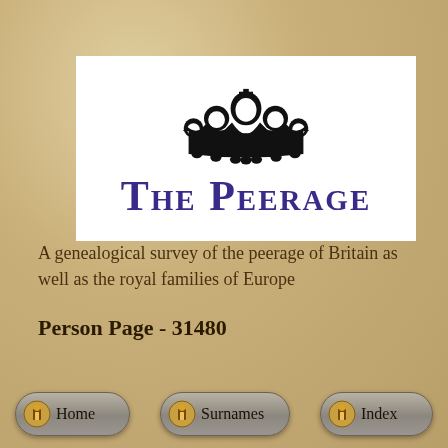[Figure (logo): The Peerage logo: black crown above italic serif text 'The Peerage' in dark purple/blue, on white background]
A genealogical survey of the peerage of Britain as well as the royal families of Europe
Person Page - 31480
[Figure (infographic): Navigation buttons: Home, Surnames, Index — each with a small golden lantern/coin icon, rendered as rounded gray pill-shaped buttons]